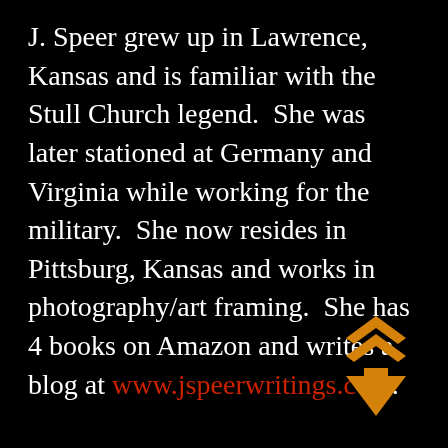J. Speer grew up in Lawrence, Kansas and is familiar with the Stull Church legend.  She was later stationed at Germany and Virginia while working for the military.  She now resides in Pittsburg, Kansas and works in photography/art framing.  She has 4 books on Amazon and writes a blog at www.jspeerwritings.com.
[Figure (illustration): An orange/amber upward-pointing arrow icon with a double chevron above it, positioned in the bottom-right corner on a black background.]